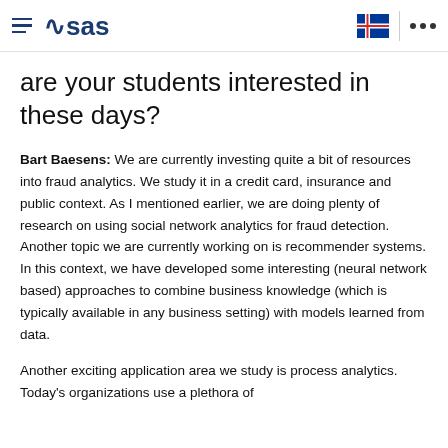SAS logo and navigation header
are your students interested in these days?
Bart Baesens: We are currently investing quite a bit of resources into fraud analytics. We study it in a credit card, insurance and public context. As I mentioned earlier, we are doing plenty of research on using social network analytics for fraud detection. Another topic we are currently working on is recommender systems. In this context, we have developed some interesting (neural network based) approaches to combine business knowledge (which is typically available in any business setting) with models learned from data.
Another exciting application area we study is process analytics. Today's organizations use a plethora of